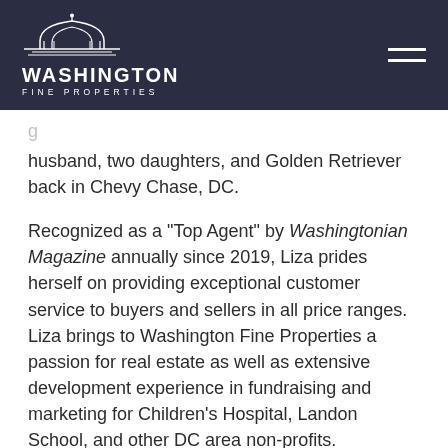Washington Fine Properties
husband, two daughters, and Golden Retriever back in Chevy Chase, DC.
Recognized as a "Top Agent" by Washingtonian Magazine annually since 2019, Liza prides herself on providing exceptional customer service to buyers and sellers in all price ranges. Liza brings to Washington Fine Properties a passion for real estate as well as extensive development experience in fundraising and marketing for Children's Hospital, Landon School, and other DC area non-profits.
EDUCATION: